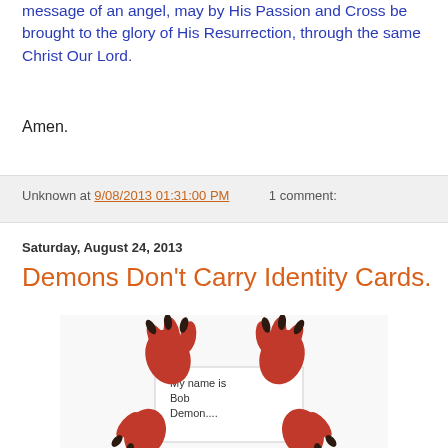message of an angel, may by His Passion and Cross be brought to the glory of His Resurrection, through the same Christ Our Lord.
Amen.
Unknown at 9/08/2013 01:31:00 PM    1 comment:
Saturday, August 24, 2013
Demons Don't Carry Identity Cards.
[Figure (illustration): Illustration of red demon claws holding a white name card that reads 'My name is Bob Demon....']